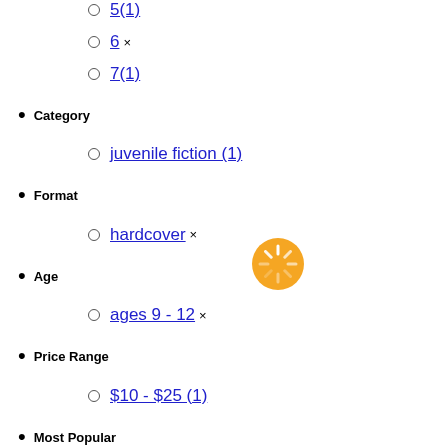5(1)
6 ×
7(1)
Category
juvenile fiction (1)
Format
hardcover ×
Age
ages 9 - 12 ×
Price Range
$10 - $25 (1)
Most Popular